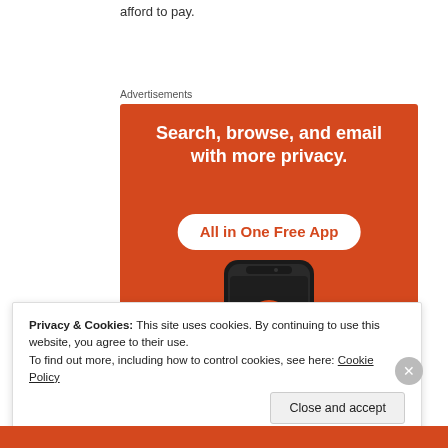afford to pay.
Advertisements
[Figure (illustration): DuckDuckGo advertisement banner with orange background. Text reads 'Search, browse, and email with more privacy.' and 'All in One Free App'. Shows a smartphone with DuckDuckGo logo.]
Privacy & Cookies: This site uses cookies. By continuing to use this website, you agree to their use.
To find out more, including how to control cookies, see here: Cookie Policy
Close and accept